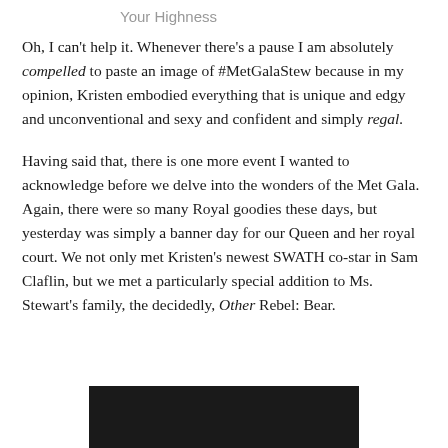Your Highness
Oh, I can't help it. Whenever there's a pause I am absolutely compelled to paste an image of #MetGalaStew because in my opinion, Kristen embodied everything that is unique and edgy and unconventional and sexy and confident and simply regal.
Having said that, there is one more event I wanted to acknowledge before we delve into the wonders of the Met Gala. Again, there were so many Royal goodies these days, but yesterday was simply a banner day for our Queen and her royal court. We not only met Kristen's newest SWATH co-star in Sam Claflin, but we met a particularly special addition to Ms. Stewart's family, the decidedly, Other Rebel: Bear.
[Figure (photo): Dark photograph, partially visible at the bottom of the page]